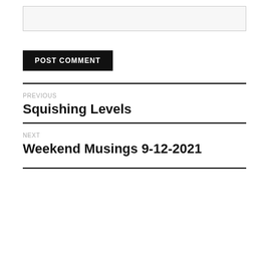[Figure (other): Empty input text box with light gray background and border]
POST COMMENT
PREVIOUS
Squishing Levels
NEXT
Weekend Musings 9-12-2021